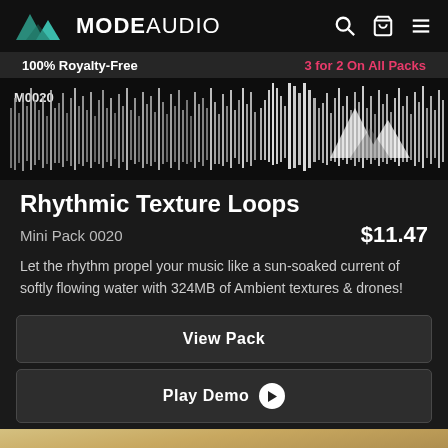MODE AUDIO
100% Royalty-Free   3 for 2 On All Packs
[Figure (other): Waveform audio visualization showing rhythmic texture loops with waveform bars across a dark background, with ModeAudio logo watermark]
Rhythmic Texture Loops
Mini Pack 0020   $11.47
Let the rhythm propel your music like a sun-soaked current of softly flowing water with 324MB of Ambient textures & drones!
View Pack
Play Demo
[Figure (photo): Sandy desert/dune landscape in warm golden tones, partially visible at bottom of page]